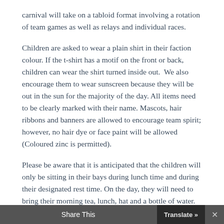carnival will take on a tabloid format involving a rotation of team games as well as relays and individual races.
Children are asked to wear a plain shirt in their faction colour. If the t-shirt has a motif on the front or back, children can wear the shirt turned inside out.  We also encourage them to wear sunscreen because they will be out in the sun for the majority of the day. All items need to be clearly marked with their name. Mascots, hair ribbons and banners are allowed to encourage team spirit; however, no hair dye or face paint will be allowed (Coloured zinc is permitted).
Please be aware that it is anticipated that the children will only be sitting in their bays during lunch time and during their designated rest time. On the day, they will need to bring their morning tea, lunch, hat and a bottle of water.  As children will be constantly m...